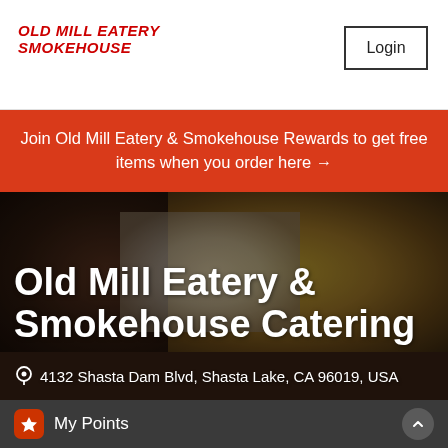[Figure (logo): Old Mill Eatery Smokehouse logo text in red italic bold uppercase]
Login
Join Old Mill Eatery & Smokehouse Rewards to get free items when you order here →
[Figure (photo): Close-up food photo showing smoked meat on the left and shredded/fried food on the right with a light center area, dark overlay applied]
Old Mill Eatery & Smokehouse Catering
4132 Shasta Dam Blvd, Shasta Lake, CA 96019, USA
My Points